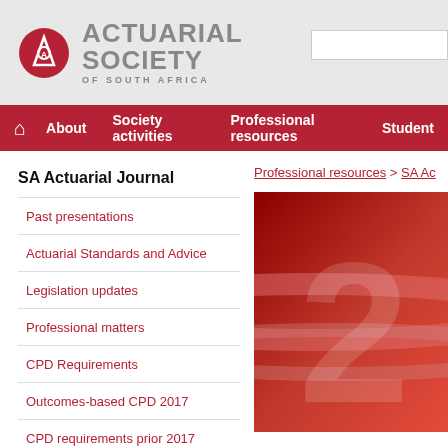Actuarial Society of South Africa
About
Society activities
Professional resources
Student
SA Actuarial Journal
Professional resources > SA Ac
Past presentations
Actuarial Standards and Advice
Legislation updates
Professional matters
CPD Requirements
Outcomes-based CPD 2017
CPD requirements prior 2017
SA Actuarial Journal
[Figure (photo): SA Actuarial Journal cover image — red gradient background with large semi-transparent number 2]